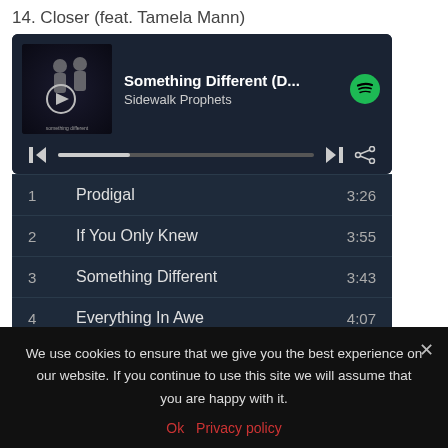14. Closer (feat. Tamela Mann)
[Figure (screenshot): Spotify embedded music player showing 'Something Different (D...' by Sidewalk Prophets with play button, progress bar, skip and share controls]
| # | Track | Duration |
| --- | --- | --- |
| 1 | Prodigal | 3:26 |
| 2 | If You Only Knew | 3:55 |
| 3 | Something Different | 3:43 |
| 4 | Everything In Awe | 4:07 |
| 5 | To Live Is Christ | 3:48 |
| 6 | Sisters & Brothers | 3:28 |
| 7 | Impossible | 3:36 |
We use cookies to ensure that we give you the best experience on our website. If you continue to use this site we will assume that you are happy with it.
Ok  Privacy policy